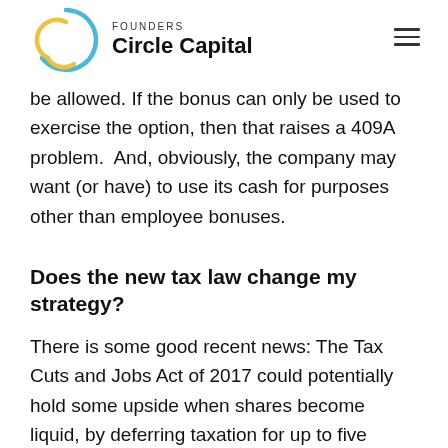FOUNDERS Circle Capital
be allowed. If the bonus can only be used to exercise the option, then that raises a 409A problem.  And, obviously, the company may want (or have) to use its cash for purposes other than employee bonuses.
Does the new tax law change my strategy?
There is some good recent news: The Tax Cuts and Jobs Act of 2017 could potentially hold some upside when shares become liquid, by deferring taxation for up to five years until